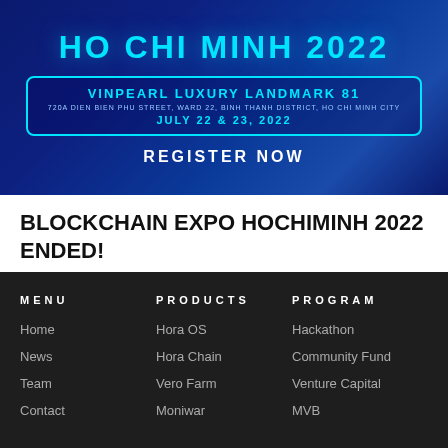[Figure (illustration): Blockchain Expo Ho Chi Minh 2022 event banner with dark blue background. Shows venue: Vinpearl Luxury Landmark 81, 720A Dien Bien Phu Street, Ward 22, Binh Thanh District, Ho Chi Minh City. Date: July 22 & 23, 2022. Register Now button.]
BLOCKCHAIN EXPO HOCHIMINH 2022 ENDED!
MENU
PRODUCTS
PROGRAM
Home
Hora OS
Hackathon
News
Hora Chain
Community Fund
Team
Vero Farm
Venture Capital
Contact
Moniwar
MVB